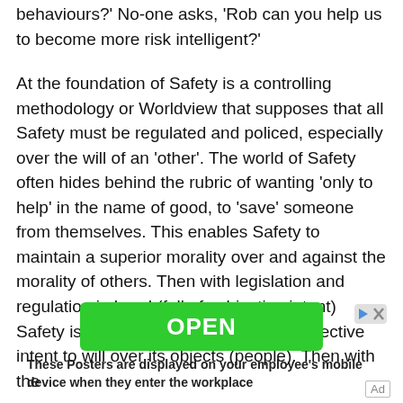behaviours?' No-one asks, 'Rob can you help us to become more risk intelligent?'
At the foundation of Safety is a controlling methodology or Worldview that supposes that all Safety must be regulated and policed, especially over the will of an 'other'. The world of Safety often hides behind the rubric of wanting 'only to help' in the name of good, to 'save' someone from themselves. This enables Safety to maintain a superior morality over and against the morality of others. Then with legislation and regulation in hand (full of subjective intent) Safety is then somehow 'armed' with objective intent to will over its objects (people). Then with the
[Figure (other): Green OPEN button advertisement banner with play and close icons]
These Posters are displayed on your employee's mobile device when they enter the workplace
Ad